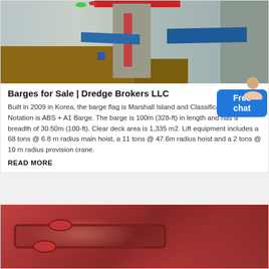[Figure (photo): Industrial/construction site photo showing concrete structures, blue tarps, scaffolding, red ladders, green and red balloons, and a figure in the scene. Background of barge listing page.]
Barges for Sale | Dredge Brokers LLC
Built in 2009 in Korea, the barge flag is Marshall Island and Classification and Notation is ABS + A1 Barge. The barge is 100m (328-ft) in length and has a breadth of 30.50m (100-ft). Clear deck area is 1,335 m2. Lift equipment includes a 68 tons @ 6.8 m radius main hoist, a 11 tons @ 47.6m radius hoist and a 2 tons @ 10 m radius provision crane.
READ MORE
[Figure (photo): Close-up photo of red/brown industrial pipe fittings or flanged pipe connections.]